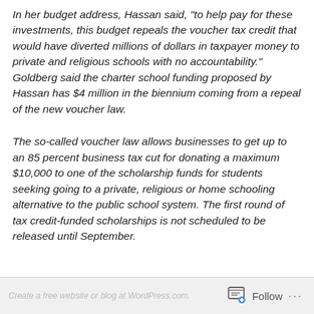In her budget address, Hassan said, "to help pay for these investments, this budget repeals the voucher tax credit that would have diverted millions of dollars in taxpayer money to private and religious schools with no accountability." Goldberg said the charter school funding proposed by Hassan has $4 million in the biennium coming from a repeal of the new voucher law.
The so-called voucher law allows businesses to get up to an 85 percent business tax cut for donating a maximum $10,000 to one of the scholarship funds for students seeking going to a private, religious or home schooling alternative to the public school system. The first round of tax credit-funded scholarships is not scheduled to be released until September.
Follow ···